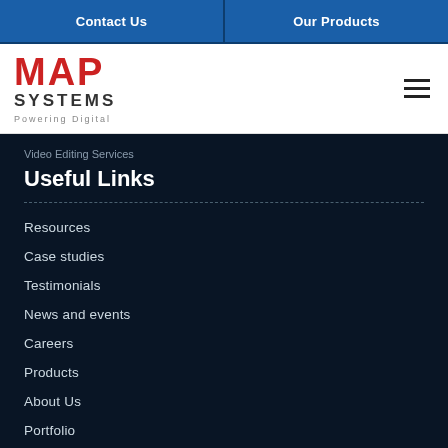Contact Us | Our Products
[Figure (logo): MAP Systems logo with red MAP text, grey SYSTEMS text, and tagline Powering Digital]
Video Editing Services
Useful Links
Resources
Case studies
Testimonials
News and events
Careers
Products
About Us
Portfolio